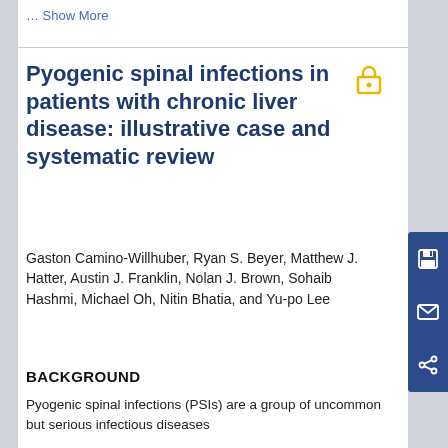… Show More
Pyogenic spinal infections in patients with chronic liver disease: illustrative case and systematic review
Gaston Camino-Willhuber, Ryan S. Beyer, Matthew J. Hatter, Austin J. Franklin, Nolan J. Brown, Sohaib Hashmi, Michael Oh, Nitin Bhatia, and Yu-po Lee
BACKGROUND
Pyogenic spinal infections (PSIs) are a group of uncommon but serious infectious diseases